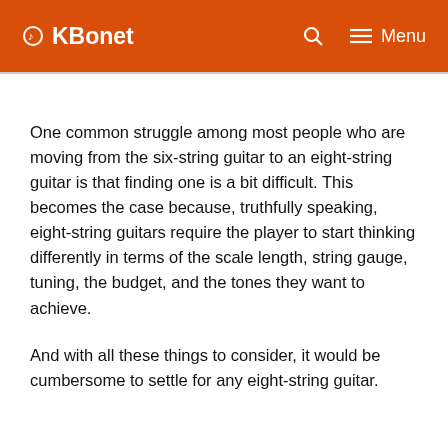KBonet — Menu
One common struggle among most people who are moving from the six-string guitar to an eight-string guitar is that finding one is a bit difficult. This becomes the case because, truthfully speaking, eight-string guitars require the player to start thinking differently in terms of the scale length, string gauge, tuning, the budget, and the tones they want to achieve.
And with all these things to consider, it would be cumbersome to settle for any eight-string guitar.